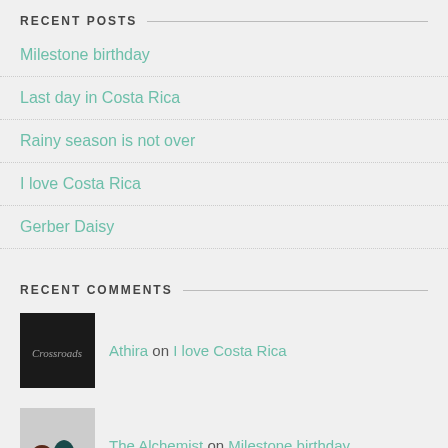RECENT POSTS
Milestone birthday
Last day in Costa Rica
Rainy season is not over
I love Costa Rica
Gerber Daisy
RECENT COMMENTS
Athira on I love Costa Rica
The Alchemist on Milestone birthday